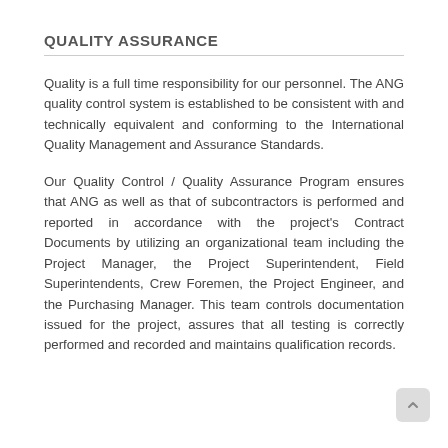QUALITY ASSURANCE
Quality is a full time responsibility for our personnel. The ANG quality control system is established to be consistent with and technically equivalent and conforming to the International Quality Management and Assurance Standards.
Our Quality Control / Quality Assurance Program ensures that ANG as well as that of subcontractors is performed and reported in accordance with the project's Contract Documents by utilizing an organizational team including the Project Manager, the Project Superintendent, Field Superintendents, Crew Foremen, the Project Engineer, and the Purchasing Manager. This team controls documentation issued for the project, assures that all testing is correctly performed and recorded and maintains qualification records.